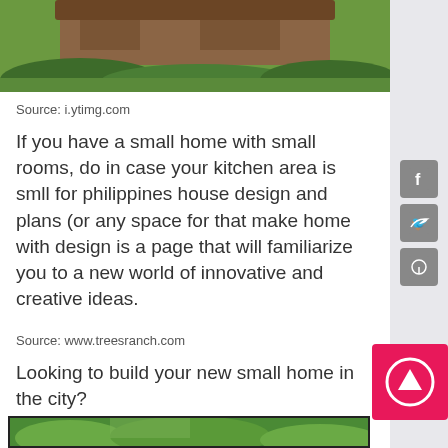[Figure (photo): Top portion of a house exterior with green lawn/bushes, partially visible]
Source: i.ytimg.com
If you have a small home with small rooms, do in case your kitchen area is smll for philippines house design and plans (or any space for that make home with design is a page that will familiarize you to a new world of innovative and creative ideas.
Source: www.treesranch.com
Looking to build your new small home in the city?
[Figure (photo): Bottom portion of another house image, partially visible]